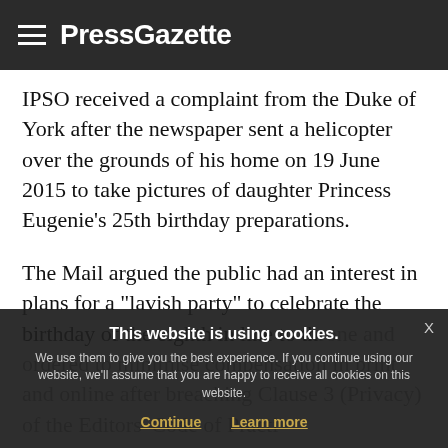PressGazette
IPSO received a complaint from the Duke of York after the newspaper sent a helicopter over the grounds of his home on 19 June 2015 to take pictures of daughter Princess Eugenie’s 25th birthday preparations.
The Mail argued the public had an interest in plans for a “lavish party” to celebrate the birthday of the eighth in line to the throne and ordered to minimise compensation in print and online after breaching Clause 3 (Privacy) of the Editors’ Code of Practice...
This website is using cookies. We use them to give you the best experience. If you continue using our website, we’ll assume that you are happy to receive all cookies on this website. Continue  Learn more